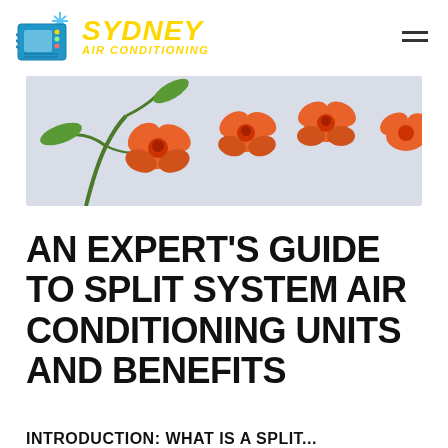[Figure (logo): Sydney Air Conditioning logo with snowflake and AC unit icon, yellow text reading SYDNEY AIR CONDITIONING]
[Figure (photo): Banner photo of orange orchid flowers with green leaves on a light grey background]
AN EXPERT'S GUIDE TO SPLIT SYSTEM AIR CONDITIONING UNITS AND BENEFITS
INTRODUCTION: WHAT IS A SPLIT...